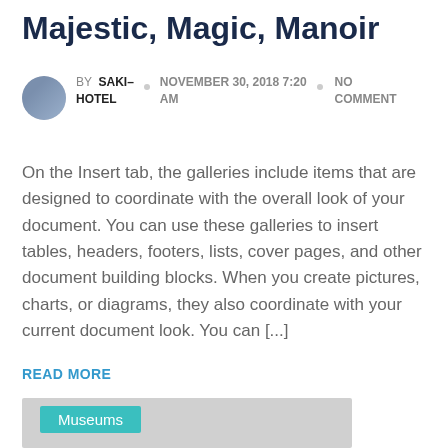Majestic, Magic, Manoir
BY SAKI-HOTEL   NOVEMBER 30, 2018 7:20 AM   NO COMMENT
On the Insert tab, the galleries include items that are designed to coordinate with the overall look of your document. You can use these galleries to insert tables, headers, footers, lists, cover pages, and other document building blocks. When you create pictures, charts, or diagrams, they also coordinate with your current document look. You can [...]
READ MORE
[Figure (photo): Gray placeholder image with a teal 'Museums' badge in the upper left corner]